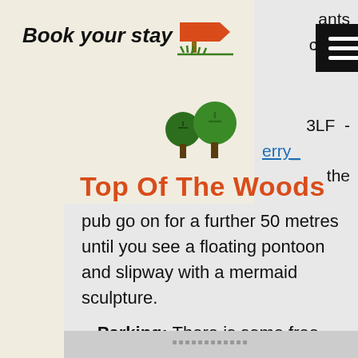Book your stay [logo] Top Of The Woods
pub go on for a further 50 metres until you see a floating pontoon and slipway with a mermaid sculpture.
Parking: There is some free parking here, but it gets busy during the summer.
Tide times: Find out more about the Cardigan Town Tide Times.
Facilities: The closest public toilets a... nit Sands.